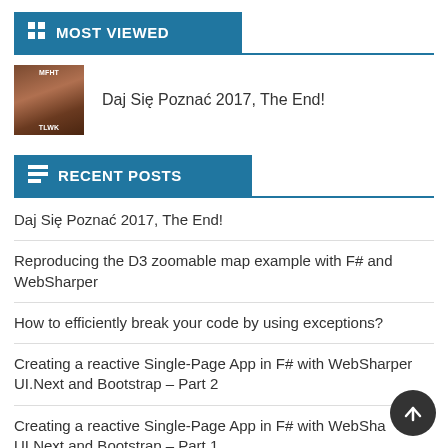MOST VIEWED
[Figure (photo): Thumbnail image for 'Daj Się Poznać 2017, The End!' post showing a person's face with overlaid text]
Daj Się Poznać 2017, The End!
RECENT POSTS
Daj Się Poznać 2017, The End!
Reproducing the D3 zoomable map example with F# and WebSharper
How to efficiently break your code by using exceptions?
Creating a reactive Single-Page App in F# with WebSharper UI.Next and Bootstrap – Part 2
Creating a reactive Single-Page App in F# with WebSharper UI.Next and Bootstrap – Part 1